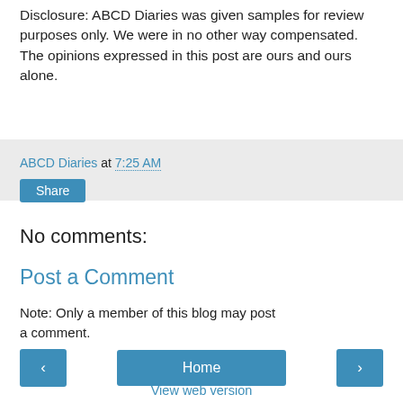Disclosure: ABCD Diaries was given samples for review purposes only. We were in no other way compensated. The opinions expressed in this post are ours and ours alone.
ABCD Diaries at 7:25 AM
Share
No comments:
Post a Comment
Note: Only a member of this blog may post a comment.
‹  Home  ›
View web version
Powered by Blogger.